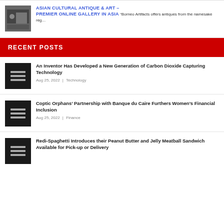ASIAN CULTURAL ANTIQUE & ART – PREMIER ONLINE GALLERY IN ASIA "Borneo Artifacts offers antiques from the namesake reg...
RECENT POSTS
An Inventor Has Developed a New Generation of Carbon Dioxide Capturing Technology
Aug 25, 2022 | Technology
Coptic Orphans' Partnership with Banque du Caire Furthers Women's Financial Inclusion
Aug 25, 2022 | Finance
Redi-Spaghetti Introduces their Peanut Butter and Jelly Meatball Sandwich Available for Pick-up or Delivery